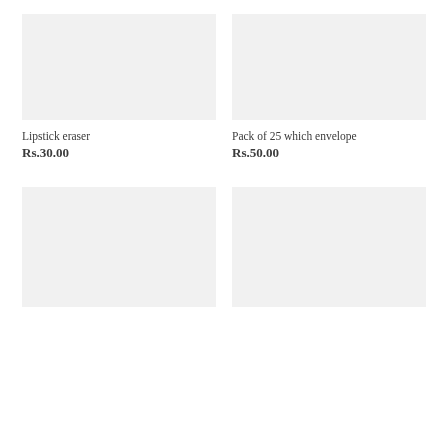[Figure (photo): Product image placeholder for Lipstick eraser, light gray background]
[Figure (photo): Product image placeholder for Pack of 25 which envelope, light gray background]
Lipstick eraser
Rs.30.00
Pack of 25 which envelope
Rs.50.00
[Figure (photo): Product image placeholder, bottom left, light gray background, partially visible]
[Figure (photo): Product image placeholder, bottom right, light gray background, partially visible]